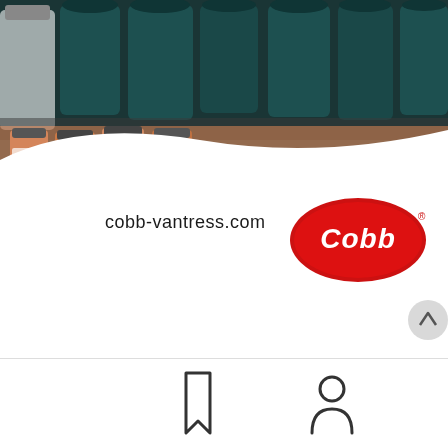[Figure (photo): Photo of pharmaceutical/medicine bottles and containers on shelves, with a curved white overlay at the bottom. Text 'cobb-vantress.com' visible on the image. Red oval Cobb logo with white 'Cobb' text in the lower right of the image.]
[Figure (other): Mobile app navigation bar at bottom with bookmark icon and person/user icon on white background.]